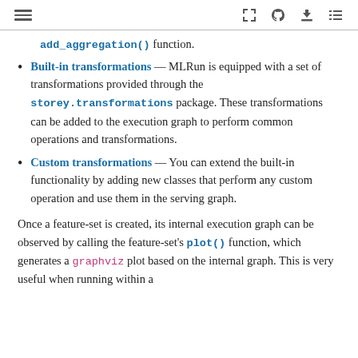≡  [expand] [github] [download] [toc]
add_aggregation() function.
Built-in transformations — MLRun is equipped with a set of transformations provided through the storey.transformations package. These transformations can be added to the execution graph to perform common operations and transformations.
Custom transformations — You can extend the built-in functionality by adding new classes that perform any custom operation and use them in the serving graph.
Once a feature-set is created, its internal execution graph can be observed by calling the feature-set's plot() function, which generates a graphviz plot based on the internal graph. This is very useful when running within a